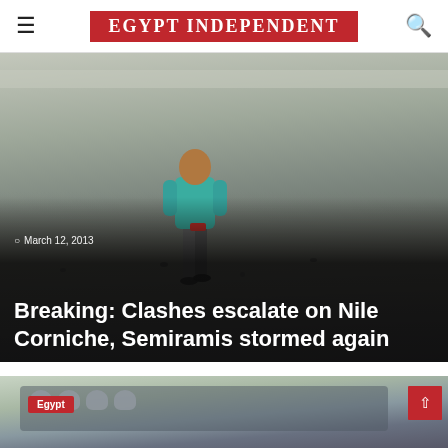EGYPT INDEPENDENT
[Figure (photo): Person in teal jacket walking on a road with debris scattered around, viewed from the side. Conflict/protest scene on Nile Corniche.]
March 12, 2013
Breaking: Clashes escalate on Nile Corniche, Semiramis stormed again
[Figure (photo): Riot police in helmets with shields facing a crowd, protest/clashes scene. Egypt category badge visible.]